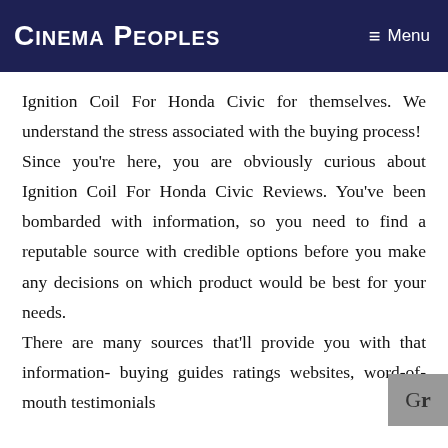Cinema Peoples  ≡ Menu
Ignition Coil For Honda Civic for themselves. We understand the stress associated with the buying process! Since you're here, you are obviously curious about Ignition Coil For Honda Civic Reviews. You've been bombarded with information, so you need to find a reputable source with credible options before you make any decisions on which product would be best for your needs. There are many sources that'll provide you with that information- buying guides ratings websites, word-of-mouth testimonials